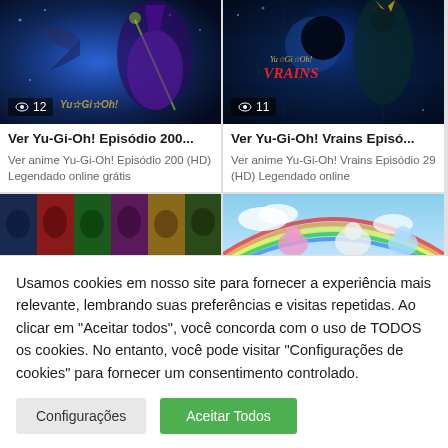[Figure (screenshot): Yu-Gi-Oh! anime thumbnail with Dark Magician character, blue magical background, view count 12]
[Figure (screenshot): Yu-Gi-Oh! Vrains anime thumbnail with character, VRAINS logo, view count 11]
Ver Yu-Gi-Oh! Episódio 200...
Ver Yu-Gi-Oh! Vrains Episó...
Ver anime Yu-Gi-Oh! Episódio 200 (HD) Legendado online grátis
Ver anime Yu-Gi-Oh! Vrains Episódio 29 (HD) Legendado online
[Figure (screenshot): Dragon Ball characters collage with multiple colored panels]
[Figure (screenshot): Pokemon anime scene with rainbow and pokemon characters in sky]
Usamos cookies em nosso site para fornecer a experiência mais relevante, lembrando suas preferências e visitas repetidas. Ao clicar em "Aceitar todos", você concorda com o uso de TODOS os cookies. No entanto, você pode visitar "Configurações de cookies" para fornecer um consentimento controlado.
Configurações
Aceitar Todos